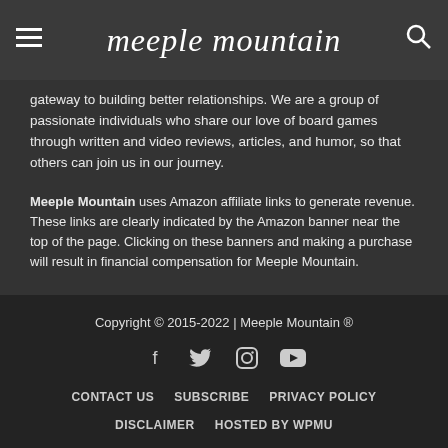meeple mountain
gateway to building better relationships. We are a group of passionate individuals who share our love of board games through written and video reviews, articles, and humor, so that others can join us in our journey.
Meeple Mountain uses Amazon affiliate links to generate revenue. These links are clearly indicated by the Amazon banner near the top of the page. Clicking on these banners and making a purchase will result in financial compensation for Meeple Mountain.
Copyright © 2015-2022 | Meeple Mountain ® | CONTACT US | SUBSCRIBE | PRIVACY POLICY | DISCLAIMER | HOSTED BY WPMU